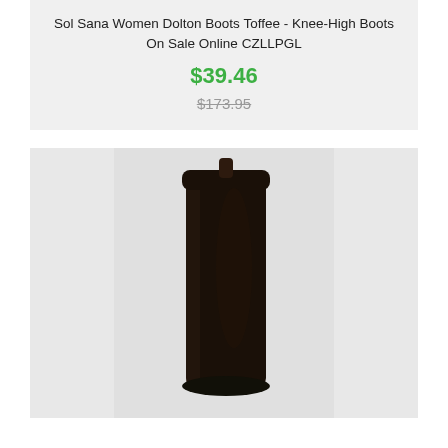Sol Sana Women Dolton Boots Toffee - Knee-High Boots On Sale Online CZLLPGL
$39.46
$173.95
[Figure (photo): Photo of a dark brown/black knee-high suede boot shown from the front, standing upright against a light grey/white background. The top of the boot is flat and the shaft is cylindrical.]